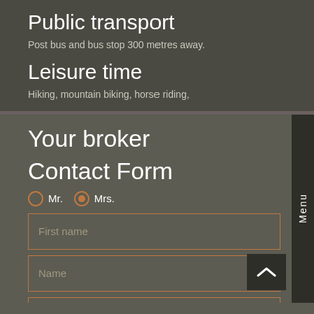Public transport
Post bus and bus stop 300 metres away.
Leisure time
Hiking, mountain biking, horse riding,
Your broker
Contact Form
Mr.   Mrs.
First name
Name
Menu